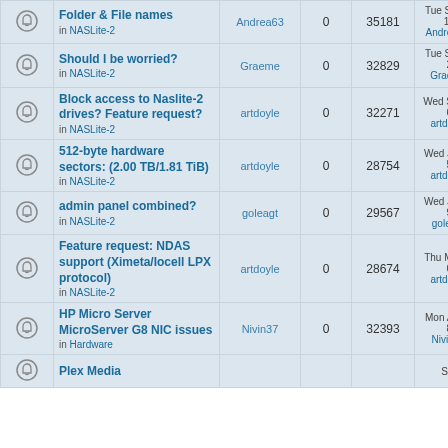|  | Topic | Author | Replies | Views | Last post |
| --- | --- | --- | --- | --- | --- |
| [bell] | Folder & File names
in NASLite-2 | Andrea63 | 0 | 35181 | Tue Sep 23, 2014 12:27 pm
Andrea63 → |
| [bell] | Should I be worried?
in NASLite-2 | Graeme | 0 | 32829 | Tue Sep 09, 2014 2:38 am
Graeme → |
| [bell] | Block access to Naslite-2 drives? Feature request?
in NASLite-2 | artdoyle | 0 | 32271 | Wed Sep 03, 2014 6:07 am
artdoyle → |
| [bell] | 512-byte hardware sectors: (2.00 TB/1.81 TiB)
in NASLite-2 | artdoyle | 0 | 28754 | Wed Jun 04, 2014 5:47 pm
artdoyle → |
| [bell] | admin panel combined?
in NASLite-2 | goleagt | 0 | 29567 | Wed Jun 04, 2014 9:45 am
goleagt → |
| [bell] | Feature request: NDAS support (Ximeta/Iocell LPX protocol)
in NASLite-2 | artdoyle | 0 | 28674 | Thu May 29, 2014 6:25 pm
artdoyle → |
| [bell] | HP Micro Server MicroServer G8 NIC issues
in Hardware | Nivin37 | 0 | 32393 | Mon Apr 21, 2014 8:57 pm
Nivin37 → |
| [bell] | Plex Media... |  |  |  | Sat Apr 19 |